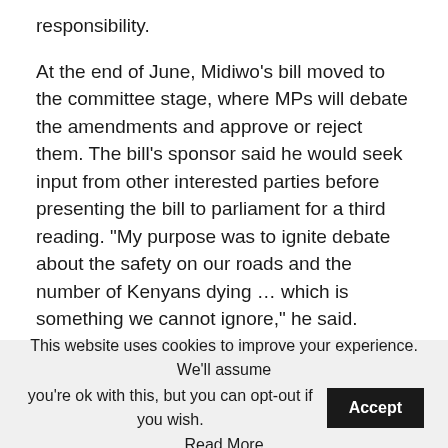responsibility.
At the end of June, Midiwo's bill moved to the committee stage, where MPs will debate the amendments and approve or reject them. The bill's sponsor said he would seek input from other interested parties before presenting the bill to parliament for a third reading. "My purpose was to ignite debate about the safety on our roads and the number of Kenyans dying ... which is something we cannot ignore," he said.
This website uses cookies to improve your experience. We'll assume you're ok with this, but you can opt-out if you wish. Accept Read More